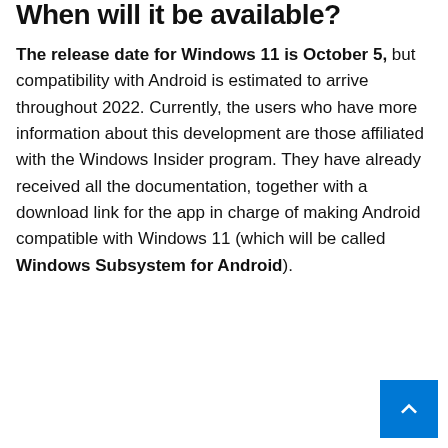When will it be available?
The release date for Windows 11 is October 5, but compatibility with Android is estimated to arrive throughout 2022. Currently, the users who have more information about this development are those affiliated with the Windows Insider program. They have already received all the documentation, together with a download link for the app in charge of making Android compatible with Windows 11 (which will be called Windows Subsystem for Android).